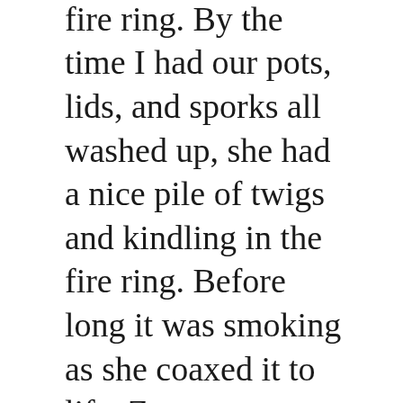logs were left in the fire ring. By the time I had our pots, lids, and sporks all washed up, she had a nice pile of twigs and kindling in the fire ring. Before long it was smoking as she coaxed it to life. Zena